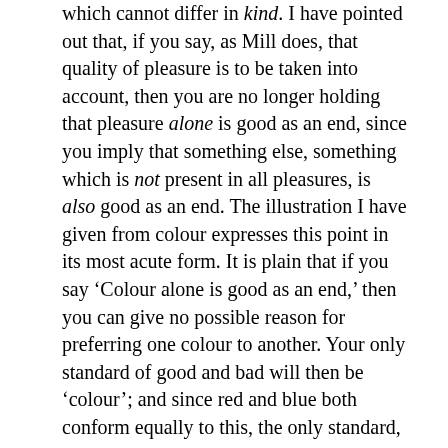which cannot differ in kind. I have pointed out that, if you say, as Mill does, that quality of pleasure is to be taken into account, then you are no longer holding that pleasure alone is good as an end, since you imply that something else, something which is not present in all pleasures, is also good as an end. The illustration I have given from colour expresses this point in its most acute form. It is plain that if you say ‘Colour alone is good as an end,’ then you can give no possible reason for preferring one colour to another. Your only standard of good and bad will then be ‘colour’; and since red and blue both conform equally to this, the only standard, you can have no